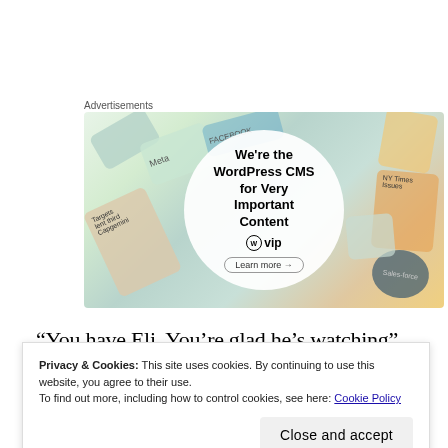Advertisements
[Figure (screenshot): WordPress VIP advertisement banner showing brand logos (Meta, Facebook, Capgemini, Salesforce, etc.) in the background with a white circle in the center containing text: 'We're the WordPress CMS for Very Important Content' with WordPress VIP logo and 'Learn more' button]
“You have Eli. You’re glad he’s watching”
Privacy & Cookies: This site uses cookies. By continuing to use this website, you agree to their use.
To find out more, including how to control cookies, see here: Cookie Policy
Close and accept
thing more times than she could count. The